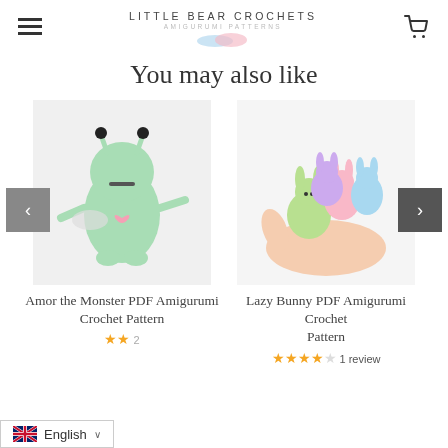LITTLE BEAR CROCHETS AMIGURUMI PATTERNS
You may also like
[Figure (photo): Photo of a green amigurumi monster crochet toy with a pink heart and small wings]
Amor the Monster PDF Amigurumi Crochet Pattern
★★ 2
[Figure (photo): Photo of multiple small colorful amigurumi bunny crochet toys held in a hand]
Lazy Bunny PDF Amigurumi Crochet Pattern
★★★★☆ 1 review
English